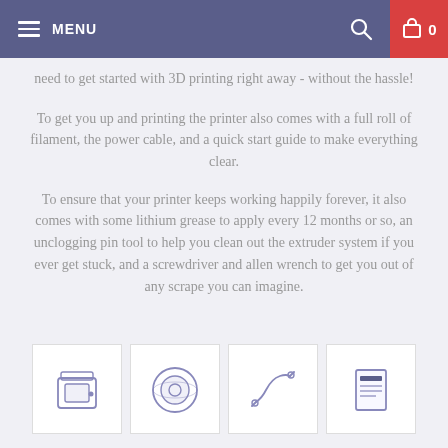MENU  [search icon]  [cart icon] 0
need to get started with 3D printing right away - without the hassle!
To get you up and printing the printer also comes with a full roll of filament, the power cable, and a quick start guide to make everything clear.
To ensure that your printer keeps working happily forever, it also comes with some lithium grease to apply every 12 months or so, an unclogging pin tool to help you clean out the extruder system if you ever get stuck, and a screwdriver and allen wrench to get you out of any scrape you can imagine.
[Figure (illustration): Four product icons in white boxes: a 3D printer, a filament spool, a power cable, and a quick start guide booklet]